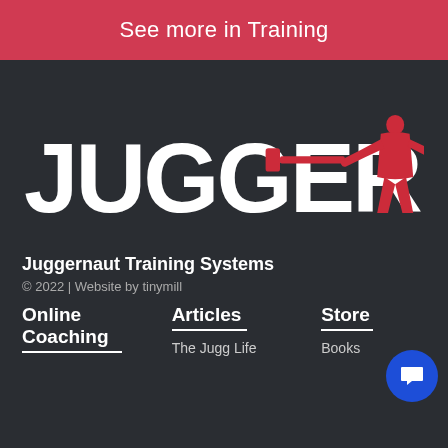See more in Training
[Figure (logo): Juggernaut Training Systems logo: large white bold text 'JUGGERNAUT' with a red powerlifter silhouette holding a barbell on dark background]
Juggernaut Training Systems
© 2022 | Website by tinymill
Online Coaching
Articles
The Jugg Life
Store
Books